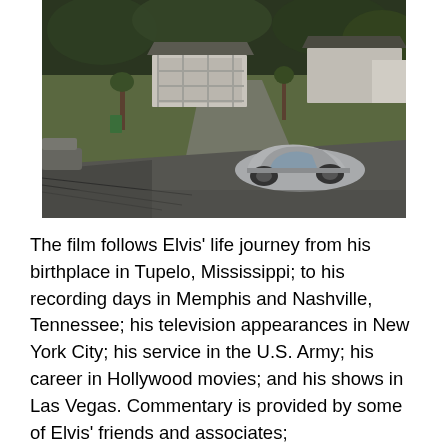[Figure (photo): Aerial drone view of a residential neighborhood showing small houses, trees, a driveway, and a vintage silver/grey classic car parked on the road.]
The film follows Elvis' life journey from his birthplace in Tupelo, Mississippi; to his recording days in Memphis and Nashville, Tennessee; his television appearances in New York City; his service in the U.S. Army; his career in Hollywood movies; and his shows in Las Vegas. Commentary is provided by some of Elvis' friends and associates; ...